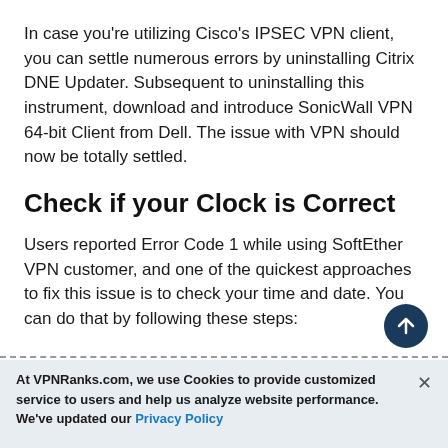In case you're utilizing Cisco's IPSEC VPN client, you can settle numerous errors by uninstalling Citrix DNE Updater. Subsequent to uninstalling this instrument, download and introduce SonicWall VPN 64-bit Client from Dell. The issue with VPN should now be totally settled.
Check if your Clock is Correct
Users reported Error Code 1 while using SoftEther VPN customer, and one of the quickest approaches to fix this issue is to check your time and date. You can do that by following these steps:
At VPNRanks.com, we use Cookies to provide customized service to users and help us analyze website performance. We've updated our Privacy Policy